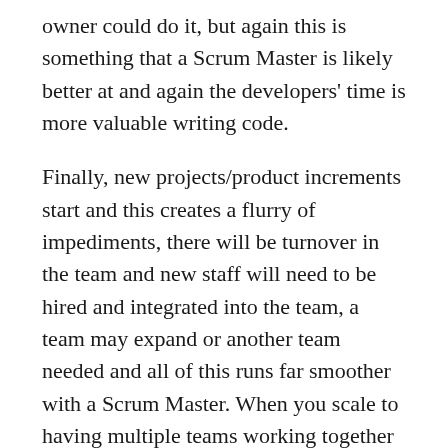owner could do it, but again this is something that a Scrum Master is likely better at and again the developers' time is more valuable writing code.
Finally, new projects/product increments start and this creates a flurry of impediments, there will be turnover in the team and new staff will need to be hired and integrated into the team, a team may expand or another team needed and all of this runs far smoother with a Scrum Master. When you scale to having multiple teams working together the need for a Scrum Master becomes even greater.
In my opinion, for a new team on a new project a Scrum Master will be very, very busy, but over time as the teams settle and mature I see no reason why a Scrum